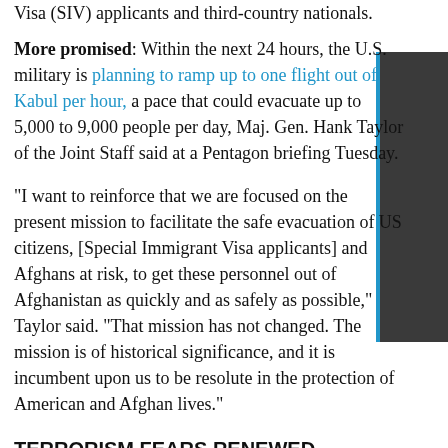Visa (SIV) applicants and third-country nationals.
More promised: Within the next 24 hours, the U.S. military is planning to ramp up to one flight out of Kabul per hour, a pace that could evacuate up to 5,000 to 9,000 people per day, Maj. Gen. Hank Taylor of the Joint Staff said at a Pentagon briefing Tuesday.
"I want to reinforce that we are focused on the present mission to facilitate the safe evacuation of US citizens, [Special Immigrant Visa applicants] and Afghans at risk, to get these personnel out of Afghanistan as quickly and as safely as possible," Taylor said. "That mission has not changed. The mission is of historical significance, and it is incumbent upon us to be resolute in the protection of American and Afghan lives."
TERRORISM FEARS RENEWED
The fall of Afghanistan to the Taliban has also raised fears that terrorist groups capable of threatening the U.S.